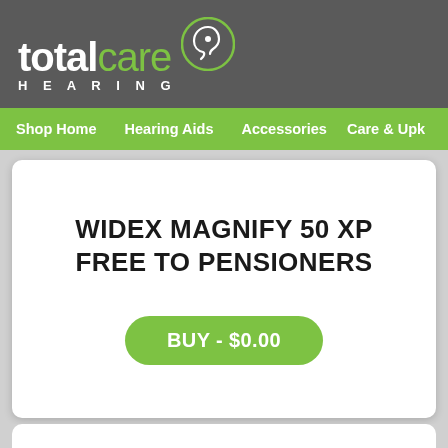totalcare HEARING
Shop Home  Hearing Aids  Accessories  Care & Upk
WIDEX MAGNIFY 50 XP FREE TO PENSIONERS
BUY - $0.00